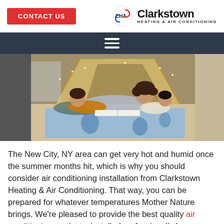CONTACT US | Clarkstown HEATING & AIR CONDITIONING
[Figure (photo): A woman and two children lying on the floor reading a book inside a tent made of blankets, with fairy lights around them.]
The New City, NY area can get very hot and humid once the summer months hit, which is why you should consider air conditioning installation from Clarkstown Heating & Air Conditioning. That way, you can be prepared for whatever temperatures Mother Nature brings. We're pleased to provide the best quality air conditioning products, installed professionally by our team of expert technicians.